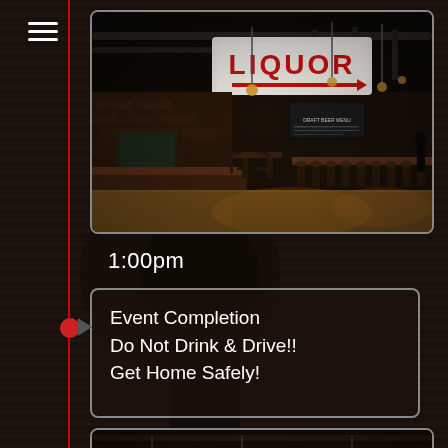[Figure (photo): Interior of a bar/restaurant with wooden furniture, high ceilings with exposed ductwork, and a large LIQUOR sign with a red arrow hanging from the ceiling. Long rows of tables and chairs visible. Dark, moody atmosphere.]
1:00pm
Event Completion
Do Not Drink & Drive!!
Get Home Safely!
[Figure (photo): Partial view of restaurant interior showing Edison bulb string lights and exposed pipes/ceiling infrastructure, dark warm tones.]